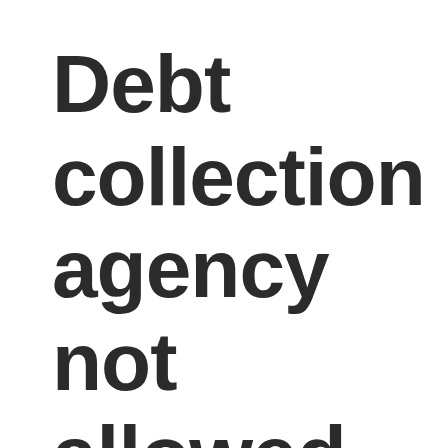Debt collection agency not allowed to collect as it